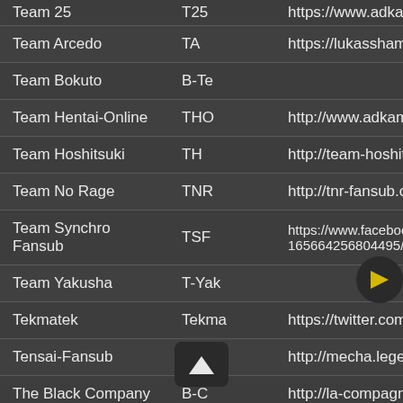| Name | Abbreviation | URL |
| --- | --- | --- |
| Team 25 | T25 | https://www.adkami.com/te... |
| Team Arcedo | TA | https://lukasshamrock.wixsi... |
| Team Bokuto | B-Te |  |
| Team Hentai-Online | THO | http://www.adkami.com/tea... |
| Team Hoshitsuki | TH | http://team-hoshitsuki.tumb... |
| Team No Rage | TNR | http://tnr-fansub.com/ |
| Team Synchro Fansub | TSF | https://www.facebook.com/... 165664256804495/ |
| Team Yakusha | T-Yak |  |
| Tekmatek | Tekma | https://twitter.com/tekmatek... |
| Tensai-Fansub | Ten-F | http://mecha.legend.free.fr/... |
| The Black Company | B-C | http://la-compagnie-noire.ov... |
| The Wonderfull Word Fansub | TWWF | http://www.adkami.com/tea... |
| Titania-Fansub | Ti-F | https://titania-fansub.net/ |